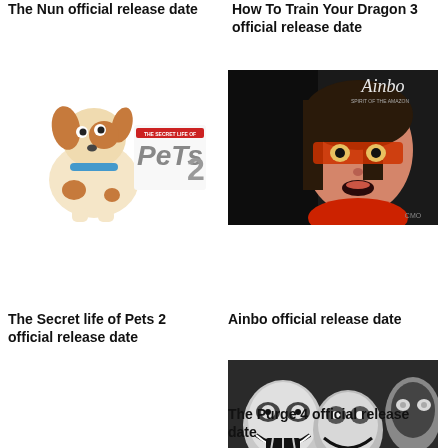The Nun official release date
How To Train Your Dragon 3 official release date
[Figure (illustration): Movie poster/promotional image for The Secret Life of Pets 2, showing a dog character and the Pets 2 logo]
[Figure (illustration): Movie poster for Ainbo, showing an animated girl character with face paint, dark background with CMO logo]
The Secret life of Pets 2 official release date
Ainbo official release date
[Figure (photo): Black and white horror image for The Purge 4, showing masked figures with clown makeup, one holding a sign reading 'KISS ME']
The Purge 4 official release date